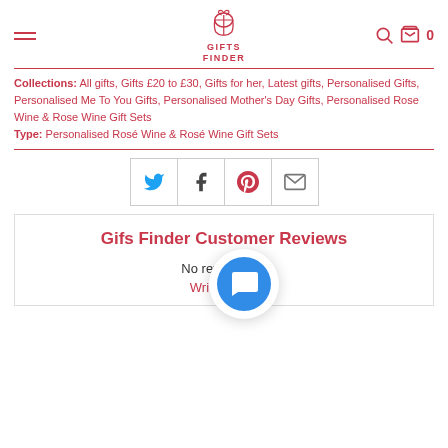GIFTS FINDER
Collections: All gifts, Gifts £20 to £30, Gifts for her, Latest gifts, Personalised Gifts, Personalised Me To You Gifts, Personalised Mother's Day Gifts, Personalised Rose Wine & Rose Wine Gift Sets Type: Personalised Rosé Wine & Rosé Wine Gift Sets
[Figure (infographic): Social sharing icons: Twitter (blue bird), Facebook (f), Pinterest (p), Email (envelope)]
Gifs Finder Customer Reviews
No reviews yet
Write a review